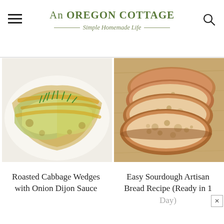An OREGON COTTAGE — Simple Homemade Life
[Figure (photo): Roasted cabbage wedges with golden onion Dijon sauce and green chives on a white plate]
[Figure (photo): Sliced sourdough artisan bread loaf on a wooden board]
Roasted Cabbage Wedges with Onion Dijon Sauce
Easy Sourdough Artisan Bread Recipe (Ready in 1 Day)